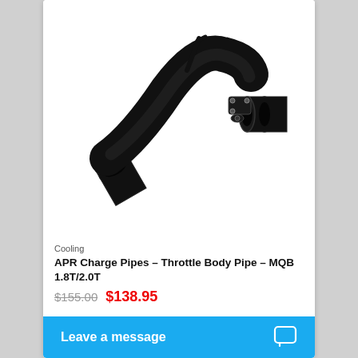[Figure (photo): Black metal charge pipe / throttle body pipe with two open ends and a mounting bracket with bolts, photographed against a white background]
Cooling
APR Charge Pipes – Throttle Body Pipe – MQB 1.8T/2.0T
$155.00  $138.95
Leave a message